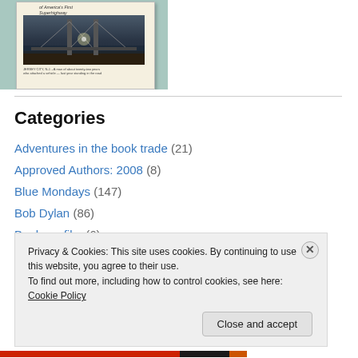[Figure (photo): Book cover showing a bridge photograph, with text 'America's First Superhighway' visible, displayed on a teal/mint background. The book has a caption below the bridge photo reading 'JERSEY CITY, N.J. - A man of about twenty-two years standing in the road attached a vehicle...']
Categories
Adventures in the book trade (21)
Approved Authors: 2008 (8)
Blue Mondays (147)
Bob Dylan (86)
Book vs. film (6)
Privacy & Cookies: This site uses cookies. By continuing to use this website, you agree to their use.
To find out more, including how to control cookies, see here: Cookie Policy
Close and accept